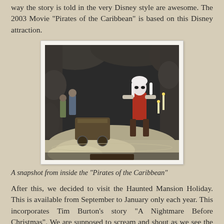way the story is told in the very Disney style are awesome. The 2003 Movie "Pirates of the Caribbean" is based on this Disney attraction.
[Figure (photo): A dark interior photograph of the Pirates of the Caribbean Disney attraction, showing cave-like rock walls, animatronic figures including a skeleton pirate in red clothing, and various props and scenery.]
A snapshot from inside the "Pirates of the Caribbean"
After this, we decided to visit the Haunted Mansion Holiday. This is available from September to January only each year. This incorporates Tim Burton's story "A Nightmare Before Christmas". We are supposed to scream and shout as we see the ghosts. Of course, there were lots of screams in the dark by many visitors. We personally were disappointed